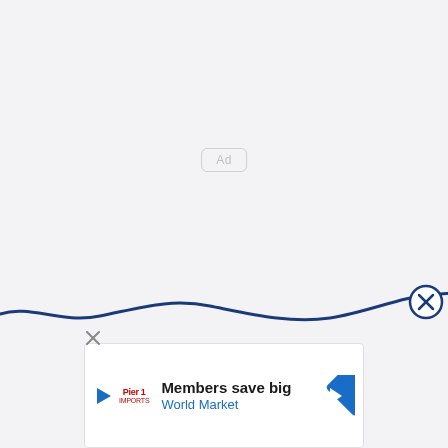[Figure (other): Ad placeholder box with 'Ad' label in center of page]
[Figure (other): Wavy dark blue decorative line near bottom of page with close (X) circle button at right end]
[Figure (other): Advertisement banner: Members save big - World Market, with play icon, brand logo, and navigation arrow icon]